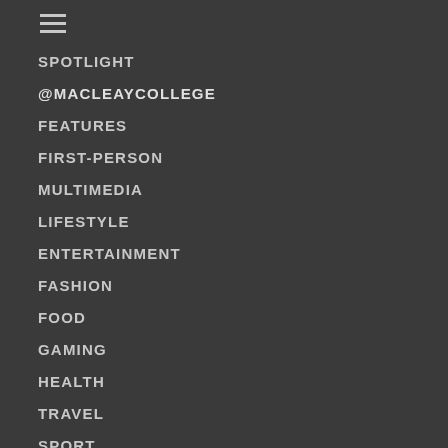☰
SPOTLIGHT
@MACLEAYCOLLEGE
FEATURES
FIRST-PERSON
MULTIMEDIA
LIFESTYLE
ENTERTAINMENT
FASHION
FOOD
GAMING
HEALTH
TRAVEL
SPORT
AFL
BASKETBALL